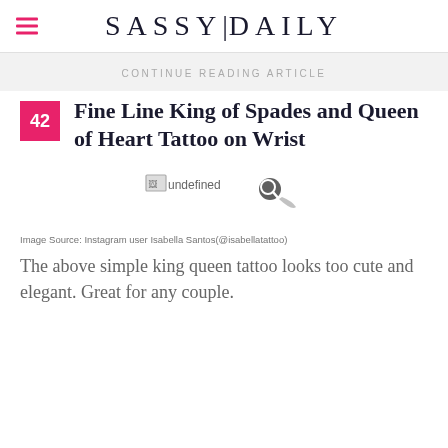SASSY|DAILY
CONTINUE READING ARTICLE
42 Fine Line King of Spades and Queen of Heart Tattoo on Wrist
[Figure (photo): Broken/undefined image placeholder with magnifier icon]
Image Source: Instagram user Isabella Santos(@isabellatattoo)
The above simple king queen tattoo looks too cute and elegant. Great for any couple.